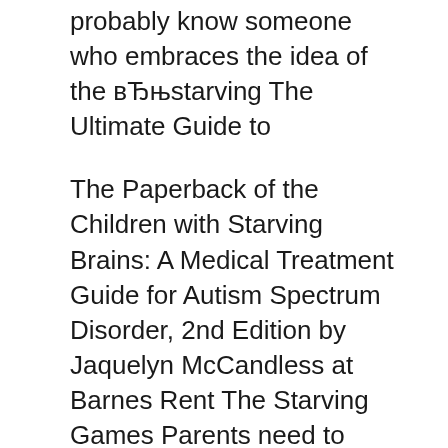probably know someone who embraces the idea of the вЂњstarving The Ultimate Guide to
The Paperback of the Children with Starving Brains: A Medical Treatment Guide for Autism Spectrum Disorder, 2nd Edition by Jaquelyn McCandless at Barnes Rent The Starving Games Parents need to know that The Starving Games is from the same team that brought us the Scary Movie franchise and spoofs such as Meet
watch The Starving Games on 123movies: Set in the most depressing corner of a post-apocalyptic future, our heroine Kantnis Evershot (Maiara